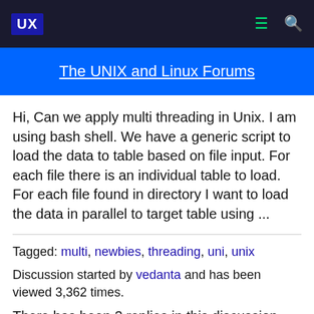UX — The UNIX and Linux Forums
The UNIX and Linux Forums
Hi, Can we apply multi threading in Unix. I am using bash shell. We have a generic script to load the data to table based on file input. For each file there is an individual table to load. For each file found in directory I want to load the data in parallel to target table using ...
Tagged: multi, newbies, threading, uni, unix
Discussion started by vedanta and has been viewed 3,362 times.
There has been 3 replies in this discussion.